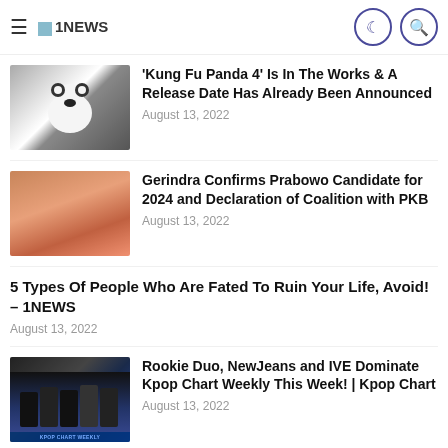1NEWS
'Kung Fu Panda 4' Is In The Works & A Release Date Has Already Been Announced
August 13, 2022
Gerindra Confirms Prabowo Candidate for 2024 and Declaration of Coalition with PKB
August 13, 2022
5 Types Of People Who Are Fated To Ruin Your Life, Avoid! – 1NEWS
August 13, 2022
Rookie Duo, NewJeans and IVE Dominate Kpop Chart Weekly This Week! | Kpop Chart
August 13, 2022
[Figure (photo): Partially visible bottom image showing two figures]